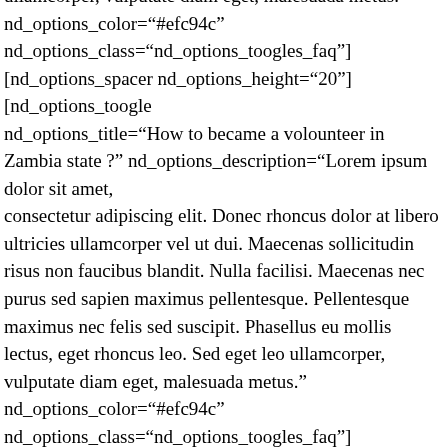ullamcorper, vulputate diam eget, malesuada metus. nd_options_color="#efc94c" nd_options_class="nd_options_toogles_faq"][nd_options_spacer nd_options_height="20"][nd_options_toogle nd_options_title="How to became a volounteer in Zambia state ?" nd_options_description="Lorem ipsum dolor sit amet, consectetur adipiscing elit. Donec rhoncus dolor at libero ultricies ullamcorper vel ut dui. Maecenas sollicitudin risus non faucibus blandit. Nulla facilisi. Maecenas nec purus sed sapien maximus pellentesque. Pellentesque maximus nec felis sed suscipit. Phasellus eu mollis lectus, eget rhoncus leo. Sed eget leo ullamcorper, vulputate diam eget, malesuada metus." nd_options_color="#efc94c" nd_options_class="nd_options_toogles_faq"][nd_options_spacer nd_options_height="20"][nd_options_toogle nd_options_title="In which state do you work most in Africa ?" nd_options_description="Lorem ipsum dolor sit amet,